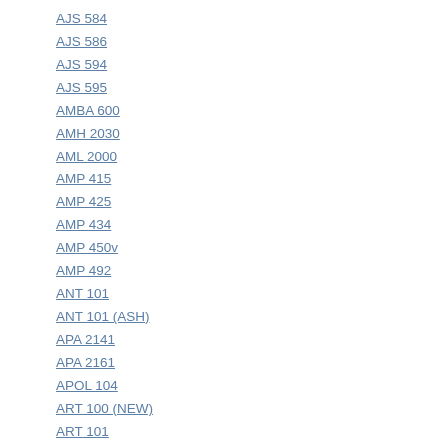AJS 584
AJS 586
AJS 594
AJS 595
AMBA 600
AMH 2030
AML 2000
AMP 415
AMP 425
AMP 434
AMP 450v
AMP 492
ANT 101
ANT 101 (ASH)
APA 2141
APA 2161
APOL 104
ART 100 (NEW)
ART 101